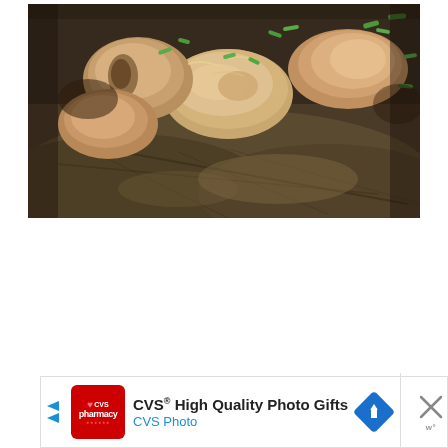[Figure (photo): Close-up photo of cooked chicken pieces garnished with chopped green onions, served on dark green lotus or banana leaves. The dish appears to be an Asian braised or steamed chicken preparation. The meat is pale brown and glistening, with visible bone pieces and green scallion garnish.]
[Figure (other): Advertisement banner for CVS High Quality Photo Gifts / CVS Photo. Contains CVS pharmacy logo (red with heart), bold text 'CVS® High Quality Photo Gifts', blue text 'CVS Photo', a blue diamond navigation icon, and a close (X) button on the right side.]